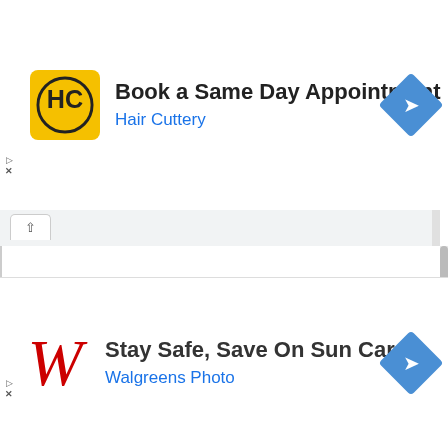[Figure (screenshot): Hair Cuttery advertisement banner: yellow HC logo icon, headline 'Book a Same Day Appointment', subtext 'Hair Cuttery', blue diamond arrow icon on right]
[Figure (screenshot): Browser UI chrome with collapsed tab showing caret/arrow icon, vertical scrollbar on right]
[Figure (screenshot): Empty white web page content area with close button overlay reading 'X CLOSE' in red]
[Figure (screenshot): Walgreens advertisement banner: red stylized W logo, headline 'Stay Safe, Save On Sun Care', subtext 'Walgreens Photo', blue diamond arrow icon on right]